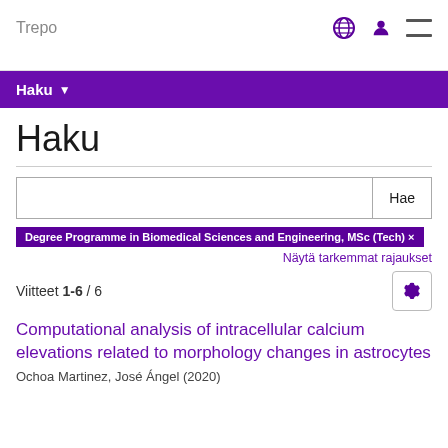Trepo
Haku
Degree Programme in Biomedical Sciences and Engineering, MSc (Tech) ×
Näytä tarkemmat rajaukset
Viitteet 1-6 / 6
Computational analysis of intracellular calcium elevations related to morphology changes in astrocytes
Ochoa Martinez, José Ángel (2020)